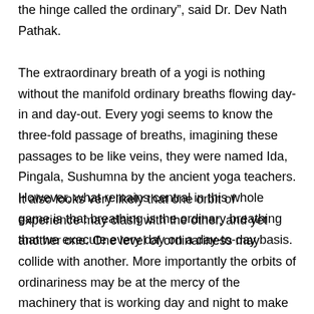the hinge called the ordinary”, said Dr. Dev Nath Pathak.
The extraordinary breath of a yogi is nothing without the manifold ordinary breaths flowing day-in and day-out. Every yogi seems to know the three-fold passage of breaths, imagining these passages to be like veins, they were named Ida, Pingala, Sushumna by the ancient yoga teachers. However, what remains central in this whole game is that breathing is the ordinary breathing that we execute every day on a day-to-day basis.
It also looks very likely that one orbit of experience may clash with the other, and yet another one. One level of ordinariness may collide with another. More importantly the orbits of ordinariness may be at the mercy of the machinery that is working day and night to make everything glamorous, memorable, countable, and little more than merely ordinary. Yet